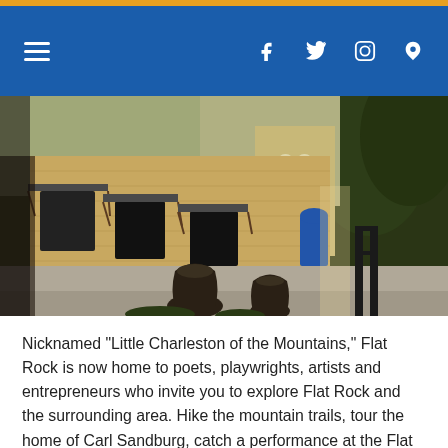Navigation bar with hamburger menu, Facebook, Twitter, Instagram, and Airbnb icons
[Figure (photo): Exterior view of a tan/beige brick building with dark awnings over windows, large dark ceramic urns/vases on a gravel path, a blue door visible in the background, and trees on the right side. Evening or dusk lighting.]
Nicknamed “Little Charleston of the Mountains,” Flat Rock is now home to poets, playwrights, artists and entrepreneurs who invite you to explore Flat Rock and the surrounding area. Hike the mountain trails, tour the home of Carl Sandburg, catch a performance at the Flat Rock Playhouse and enjoy a variety of shops, galleries